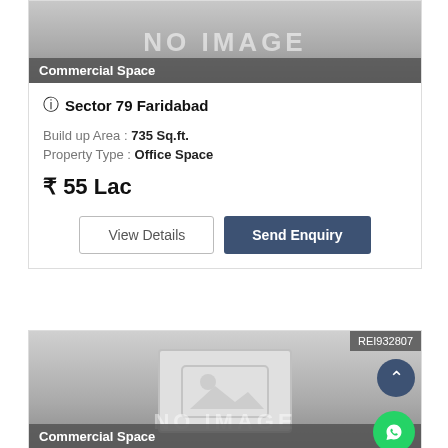[Figure (photo): No image placeholder with 'NO IMAGE' text watermark for a commercial space listing]
Commercial Space
Sector 79 Faridabad
Build up Area : 735 Sq.ft.
Property Type : Office Space
₹ 55 Lac
View Details
Send Enquiry
[Figure (photo): No image placeholder with image icon and 'NO IMAGE' text watermark for a second commercial space listing]
REI932807
Commercial Space